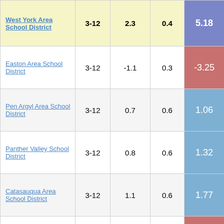| District | Grades | Col3 | Col4 | Score |
| --- | --- | --- | --- | --- |
| West York Area School District | 3-12 | 2.3 | 0.4 | 5.18 |
| Easton Area School District | 3-12 | -1.1 | 0.3 | -3.25 |
| Pen Argyl Area School District | 3-12 | 0.7 | 0.6 | 1.06 |
| Panther Valley School District | 3-12 | 0.8 | 0.6 | 1.32 |
| Catasauqua Area School District | 3-12 | 1.1 | 0.6 | 1.77 |
| Roberto Clemente Charter School | 3-12 | -4.0 | 0.9 | -4.42 |
| Northern Lehigh School District | 3-12 | -2.6 | 0.7 | -4.01 |
| Bristol Borough School District | 3-12 | -2.4 | 0.7 | -3.56 |